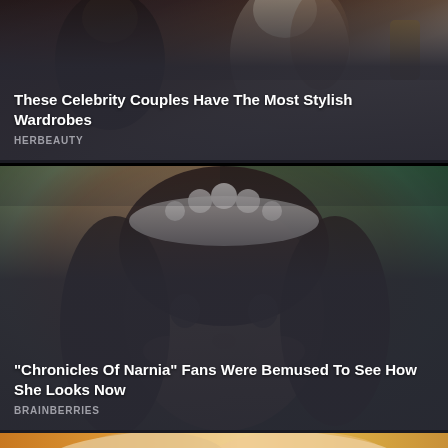[Figure (photo): Celebrity couple at formal event, dark background with warm lighting, partially visible figures in formal attire]
These Celebrity Couples Have The Most Stylish Wardrobes
HERBEAUTY
[Figure (photo): Young girl with dark hair wearing a floral tiara crown, smiling, soft blurred green background]
"Chronicles Of Narnia" Fans Were Bemused To See How She Looks Now
BRAINBERRIES
[Figure (photo): Partial view of a person with blonde hair against an orange/warm background, only top of head visible]